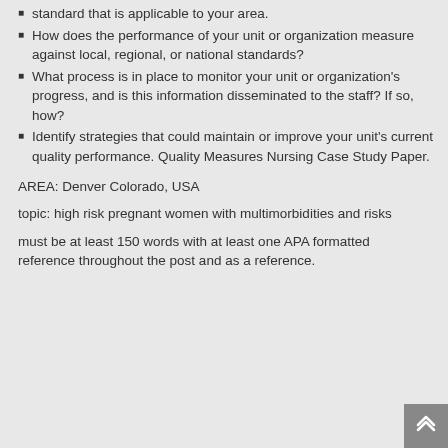standard that is applicable to your area.
How does the performance of your unit or organization measure against local, regional, or national standards?
What process is in place to monitor your unit or organization's progress, and is this information disseminated to the staff? If so, how?
Identify strategies that could maintain or improve your unit's current quality performance. Quality Measures Nursing Case Study Paper.
AREA: Denver Colorado, USA
topic: high risk pregnant women with multimorbidities and risks
must be at least 150 words with at least one APA formatted reference throughout the post and as a reference.